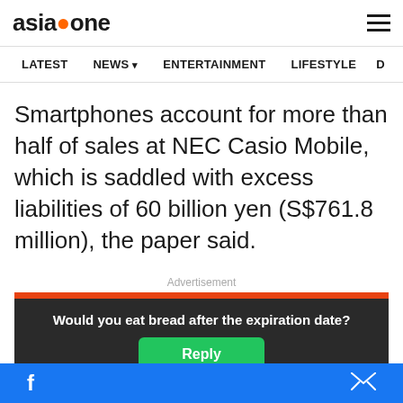AsiaOne - LATEST  NEWS  ENTERTAINMENT  LIFESTYLE
Smartphones account for more than half of sales at NEC Casio Mobile, which is saddled with excess liabilities of 60 billion yen (S$761.8 million), the paper said.
Advertisement
[Figure (other): Advertisement banner with orange background showing 'BestSelling' text in bold italic white letters, with a dark chevron button on the right, and a popup overlay showing 'Would you eat bread after the expiration date?' with a green Reply button]
Facebook share | Mail